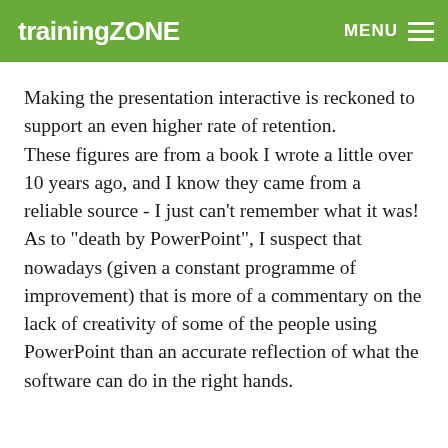trainingZONE  MENU
Making the presentation interactive is reckoned to support an even higher rate of retention.
These figures are from a book I wrote a little over 10 years ago, and I know they came from a reliable source - I just can't remember what it was!
As to "death by PowerPoint", I suspect that nowadays (given a constant programme of improvement) that is more of a commentary on the lack of creativity of some of the people using PowerPoint than an accurate reflection of what the software can do in the right hands.